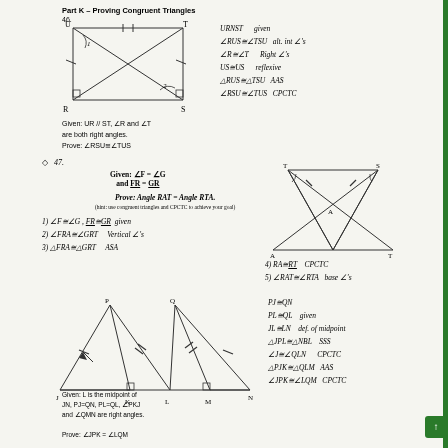Part K – Proving Congruent Triangles
46.
[Figure (engineering-diagram): Triangle diagram with vertices U, T (top), R, S (bottom) with right angle marks at R and S, tick marks on sides, and internal diagonals creating angles labeled 1 and 2.]
URNST   given
∠RUS≅∠TSU   alt. int ∠'s
∠R≅∠T   Right ∠'s
US≅US   reflexive
△RUS≅△TSU   AAS
∠RSU≅∠TUS   CPCTC
Given: UR // ST, ∠R and ∠T are both right angles.
Prove: ∠RSU≅∠TUS
◇  47.
Given: ∠F = ∠G
and FR = GR
Prove: Angle RAT = Angle RTA.
(hint: use congruent triangles and CPCTC to achieve your goal)
[Figure (engineering-diagram): Triangle with vertices T (top left), S (top right), A (middle), and base vertices, with arc marks at top corners and tick marks on sides.]
1) ∠F≅∠G, FR≅GR given
2) ∠FRA≅∠GRT   Vertical ∠'s
3) △FRA≅△GRT   ASA
4) RA≅RT   CPCTC
5) ∠RAT≅∠RTA   base ∠'s
[Figure (engineering-diagram): Two triangles sharing a base with vertices P, Q at top, J, K, L, M, N at bottom with right angle marks at K and M, and tick marks on sides.]
PJ≅QN
PL≅QL   given
JL≅LN   def. of midpoint
△JPL≅△NBL   SSS
∠J≅∠QLN   CPCTC
△PJK≅△QLM   AAS
∠JPK≅∠LQM   CPCTC
Given: L is the midpoint of JN, PJ=QN, PL=QL, ∠PKJ and ∠QMN are right angles.
Prove: ∠JPK = ∠LQM